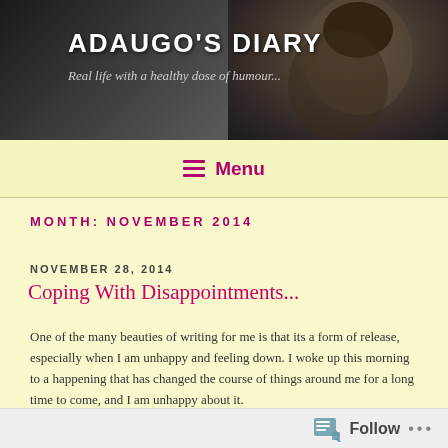[Figure (photo): Blog header banner with dark background showing a partial face/portrait photo on the right side, with blog title and subtitle text overlaid on the left]
ADAUGO'S DIARY
Real life with a healthy dose of humour...
≡ Menu
MONTH: NOVEMBER 2014
NOVEMBER 28, 2014
Coping With Disappointments...
One of the many beauties of writing for me is that its a form of release, especially when I am unhappy and feeling down. I woke up this morning to a happening that has changed the course of things around me for a long time to come, and I am unhappy about it.
Follow ...